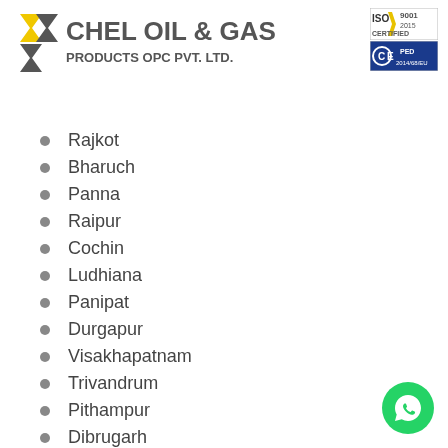[Figure (logo): CHEL OIL & GAS PRODUCTS OPC PVT. LTD. company logo with arrow/chevron icon, ISO 9001:2015 certified badge and CE PED 2014/68/EU mark]
Rajkot
Bharuch
Panna
Raipur
Cochin
Ludhiana
Panipat
Durgapur
Visakhapatnam
Trivandrum
Pithampur
Dibrugarh